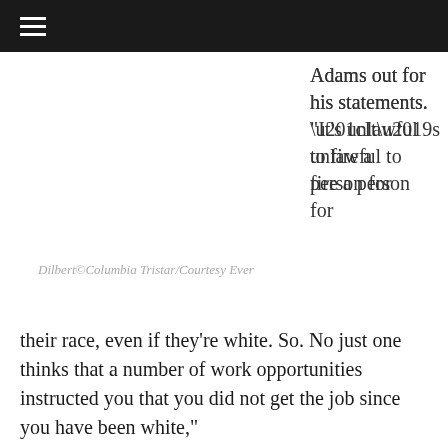≡
Adams out for his statements. “It’s unlawful to fire a person for
Dilbert©Columbia Tristar/Courtesy Ever
their race, even if they’re white. So. No just one thinks that a number of work opportunities instructed you that you did not get the job since you have been white,”